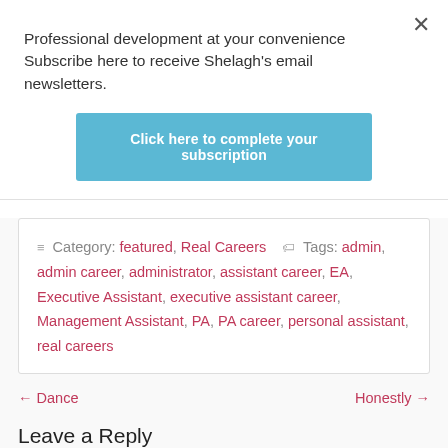Professional development at your convenience Subscribe here to receive Shelagh's email newsletters.
Click here to complete your subscription
≡ Category: featured, Real Careers  🏷 Tags: admin, admin career, administrator, assistant career, EA, Executive Assistant, executive assistant career, Management Assistant, PA, PA career, personal assistant, real careers
← Dance
Honestly →
Leave a Reply